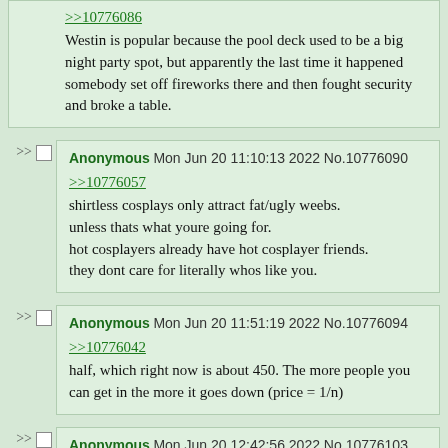>>10776086
Westin is popular because the pool deck used to be a big night party spot, but apparently the last time it happened somebody set off fireworks there and then fought security and broke a table.
>> Anonymous Mon Jun 20 11:10:13 2022 No.10776090
>>10776057
shirtless cosplays only attract fat/ugly weebs. unless thats what youre going for.
hot cosplayers already have hot cosplayer friends. they dont care for literally whos like you.
>> Anonymous Mon Jun 20 11:51:19 2022 No.10776094
>>10776042
half, which right now is about 450. The more people you can get in the more it goes down (price = 1/n)
>> Anonymous Mon Jun 20 12:42:56 2022 No.10776103
Quoted by: >>10776142